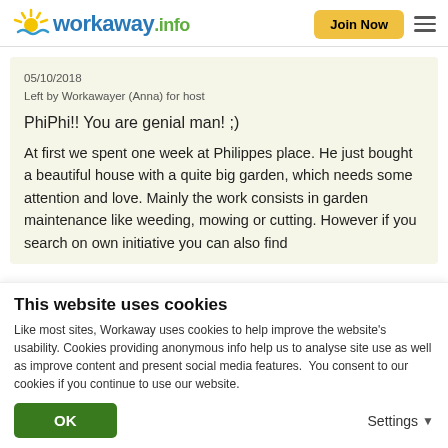workaway.info | Join Now
05/10/2018
Left by Workawayer (Anna) for host
PhiPhi!! You are genial man! ;)
At first we spent one week at Philippes place. He just bought a beautiful house with a quite big garden, which needs some attention and love. Mainly the work consists in garden maintenance like weeding, mowing or cutting. However if you search on own initiative you can also find
This website uses cookies
Like most sites, Workaway uses cookies to help improve the website's usability. Cookies providing anonymous info help us to analyse site use as well as improve content and present social media features.  You consent to our cookies if you continue to use our website.
OK
Settings